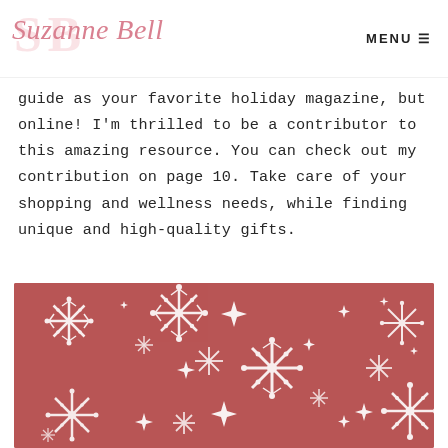Suzanne Bell | MENU
guide as your favorite holiday magazine, but online! I'm thrilled to be a contributor to this amazing resource. You can check out my contribution on page 10. Take care of your shopping and wellness needs, while finding unique and high-quality gifts.
[Figure (illustration): Dusty rose/mauve background with white snowflakes and sparkle/star decorations scattered across the image]